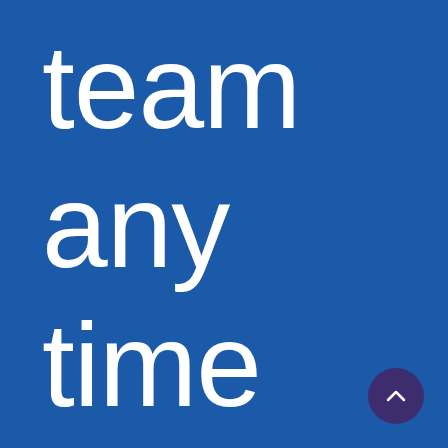team any time
[Figure (illustration): Dark navy/purple circular button with a white upward-pointing caret/chevron icon, positioned in the bottom-right corner]